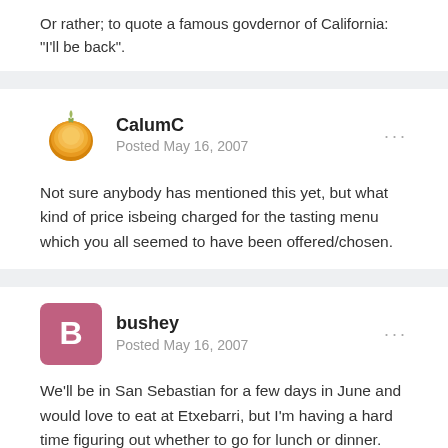Or rather; to quote a famous govdernor of California: "I'll be back".
CalumC
Posted May 16, 2007
Not sure anybody has mentioned this yet, but what kind of price isbeing charged for the tasting menu which you all seemed to have been offered/chosen.
bushey
Posted May 16, 2007
We'll be in San Sebastian for a few days in June and would love to eat at Etxebarri, but I'm having a hard time figuring out whether to go for lunch or dinner. We'll have a car and plan to spend some time in Bilbao at the Guggenheim. Would it make more sense to do morning at the museum, followed by lunch in